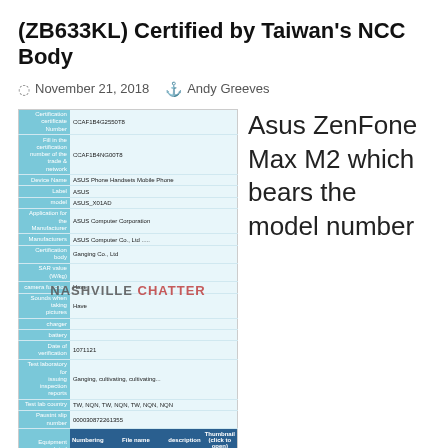(ZB633KL) Certified by Taiwan's NCC Body
November 21, 2018  Andy Greeves
[Figure (screenshot): Screenshot of NCC Taiwan certification page for ASUS_X01AD (ZB633KL) showing certification details including device name, model, manufacturer information, and attached documents table. A 'NASHVILLE CHATTER' watermark overlays the image.]
Asus ZenFone Max M2 which bears the model number
ASUS_X01AD (ZB633KL) has been certified in NCC, Taiwan's official certification website. Earlier this month, popular tipster Roland had tweeted about the upcoming Asus Zenfone model variants